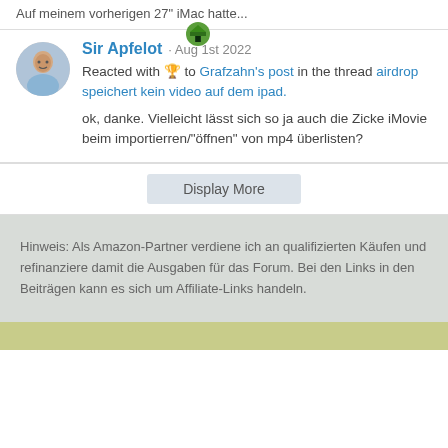Auf meinem vorherigen 27" iMac hatte...
Sir Apfelot · Aug 1st 2022
Reacted with 🏆 to Grafzahn's post in the thread airdrop speichert kein video auf dem ipad.

ok, danke. Vielleicht lässt sich so ja auch die Zicke iMovie beim importierren/"öffnen" von mp4 überlisten?
Display More
Hinweis: Als Amazon-Partner verdiene ich an qualifizierten Käufen und refinanziere damit die Ausgaben für das Forum. Bei den Links in den Beiträgen kann es sich um Affiliate-Links handeln.